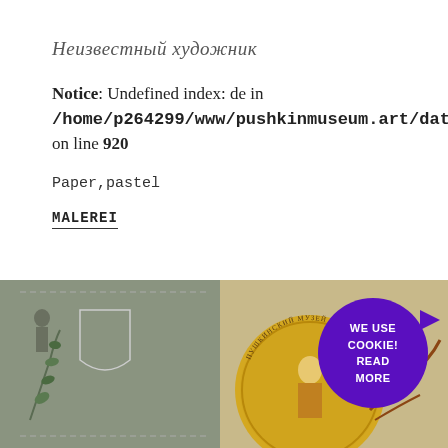Неизвестный художник
Notice: Undefined index: de in /home/p264299/www/pushkinmuseum.art/data/fo on line 920
Paper,pastel
MALEREI
[Figure (photo): Partial view of a vintage artwork/postcard showing decorative elements with a figure, olive branch motif, and yellow circular medallion on a grey-green background.]
WE USE COOKIE! READ MORE